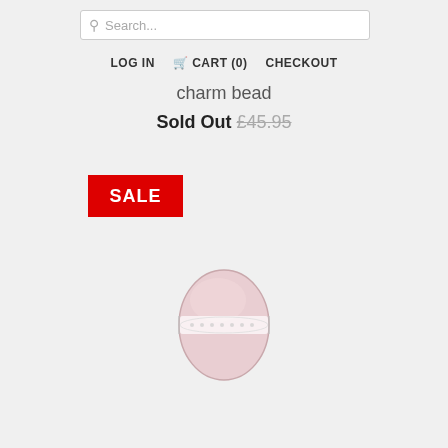Search...
LOG IN  CART (0)  CHECKOUT
charm bead
Sold Out £45.95
SALE
[Figure (photo): A pink oval charm bead with a silver stripe in the center, shown on a light grey background.]